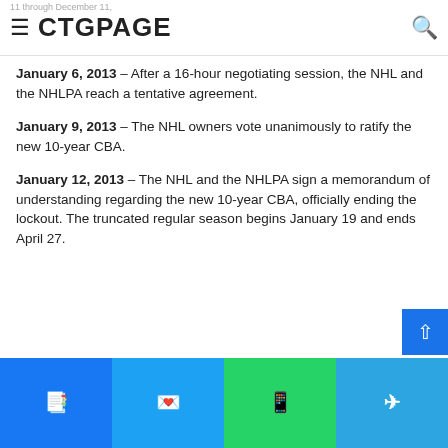CTGPAGE
January 6, 2013 – After a 16-hour negotiating session, the NHL and the NHLPA reach a tentative agreement.
January 9, 2013 – The NHL owners vote unanimously to ratify the new 10-year CBA.
January 12, 2013 – The NHL and the NHLPA sign a memorandum of understanding regarding the new 10-year CBA, officially ending the lockout. The truncated regular season begins January 19 and ends April 27.
Source link